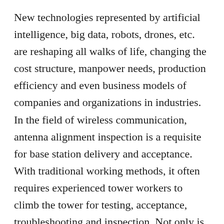New technologies represented by artificial intelligence, big data, robots, drones, etc. are reshaping all walks of life, changing the cost structure, manpower needs, production efficiency and even business models of companies and organizations in industries. In the field of wireless communication, antenna alignment inspection is a requisite for base station delivery and acceptance. With traditional working methods, it often requires experienced tower workers to climb the tower for testing, acceptance, troubleshooting and inspection. Not only is the efficiency very low and the cost is high, it also poses challenges to limited human resources and personnel safety. For places that are difficult to reach manually, such as mountain stations,